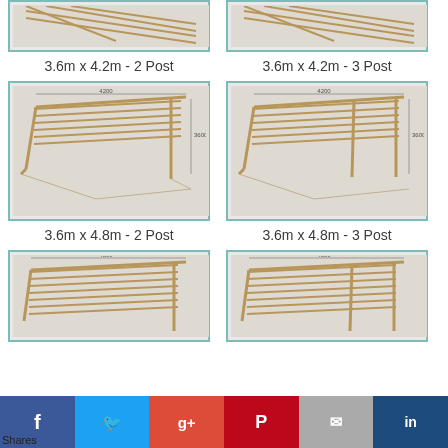[Figure (engineering-diagram): Pergola frame diagram 3.6m x 4.2m 2 Post, top portion cropped]
3.6m x 4.2m - 2 Post
[Figure (engineering-diagram): Pergola frame diagram 3.6m x 4.2m 3 Post, top portion cropped]
3.6m x 4.2m - 3 Post
[Figure (engineering-diagram): Pergola frame diagram 3.6m x 4.8m 2 Post]
3.6m x 4.8m - 2 Post
[Figure (engineering-diagram): Pergola frame diagram 3.6m x 4.8m 3 Post]
3.6m x 4.8m - 3 Post
[Figure (engineering-diagram): Pergola frame diagram bottom row left, partially visible]
[Figure (engineering-diagram): Pergola frame diagram bottom row right, partially visible]